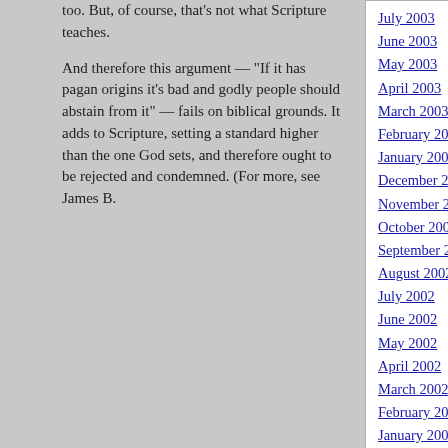too.  But, of course, that's not what Scripture teaches.
And therefore this argument — "If it has pagan origins it's bad and godly people should abstain from it" — fails on biblical grounds. It adds to Scripture, setting a standard higher than the one God sets, and therefore ought to be rejected and condemned. (For more, see James B.
July 2003
June 2003
May 2003
April 2003
March 2003
February 2003
January 2003
December 2002
November 2002
October 2002
September 2002
August 2002
July 2002
June 2002
May 2002
April 2002
March 2002
February 2002
January 2002
December 2001
0
CREDITS
Blog powered by WordPress.
CSS borrowed from BluRobot